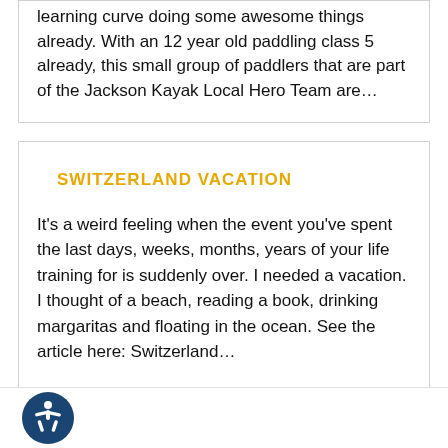learning curve doing some awesome things already. With an 12 year old paddling class 5 already, this small group of paddlers that are part of the Jackson Kayak Local Hero Team are...
SWITZERLAND VACATION
It's a weird feeling when the event you've spent the last days, weeks, months, years of your life training for is suddenly over. I needed a vacation. I thought of a beach, reading a book, drinking margaritas and floating in the ocean. See the article here: Switzerland...
[Figure (other): Accessibility icon: circle with dark blue background and white figure of a person with arms outstretched]